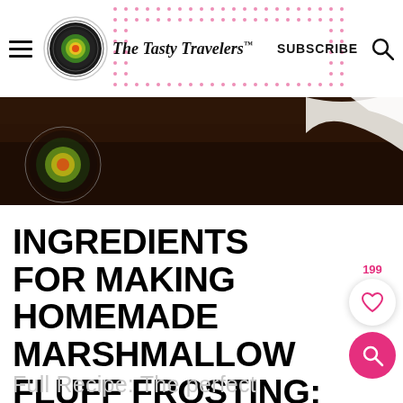The Tasty Travelers — SUBSCRIBE
[Figure (photo): Food photo strip showing chocolate dessert on dark background with logo watermark]
INGREDIENTS FOR MAKING HOMEMADE MARSHMALLOW FLUFF FROSTING:
Full Recipe: The perfect